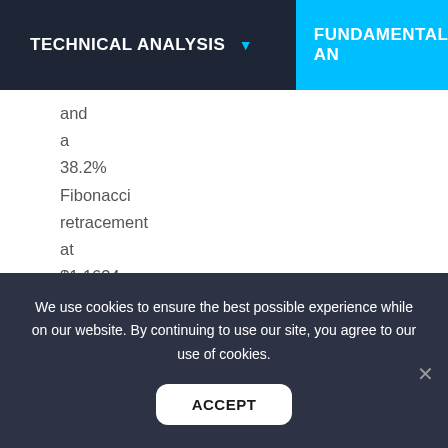TECHNICAL ANALYSIS ▾   FUNDAMENTAL AN
and
a
38.2%
Fibonacci
retracement
at
$1.1634.
Observed Technical Levels:
We use cookies to ensure the best possible experience while on our website. By continuing to use our site, you agree to our use of cookies.